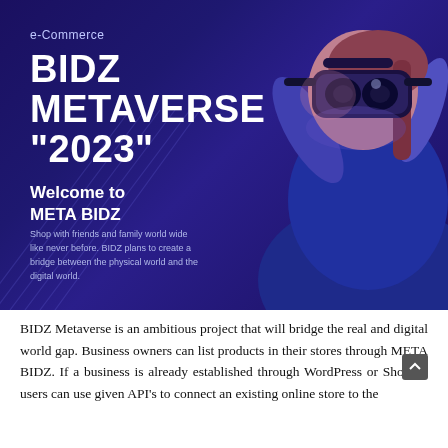[Figure (illustration): Promotional banner for BIDZ Metaverse 2023 e-Commerce with a woman wearing a VR headset against a dark blue/purple gradient background with the text 'e-Commerce', 'BIDZ METAVERSE "2023"', 'Welcome to META BIDZ', and a short description about shopping with friends and family worldwide.]
BIDZ Metaverse is an ambitious project that will bridge the real and digital world gap. Business owners can list products in their stores through META BIDZ. If a business is already established through WordPress or Shopify, users can use given API's to connect an existing online store to the